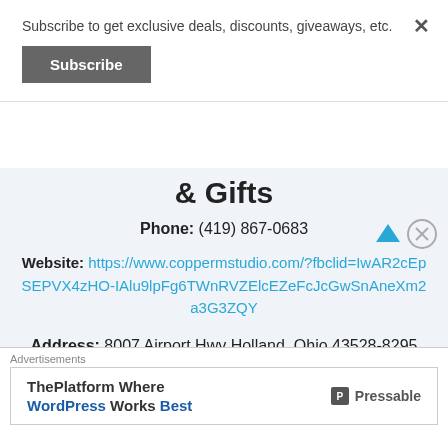Subscribe to get exclusive deals, discounts, giveaways, etc.
Subscribe
& Gifts
Phone: (419) 867-0683
Website: https://www.coppermstudio.com/?fbclid=IwAR2cEpSEPVX4zHO-IAlu9lpFg6TWnRVZElcEZeFcJcGwSnAneXm2a3G3ZQY
Address: 8007 Airport Hwy Holland, Ohio 43528-8295
Advertisements
ThePlatform Where WordPress Works Best  Pressable